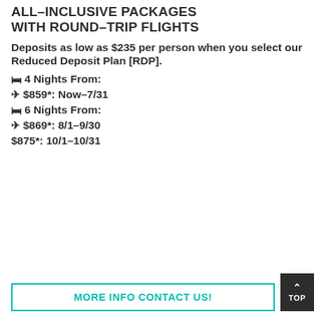ALL-INCLUSIVE PACKAGES WITH ROUND-TRIP FLIGHTS
Deposits as low as $235 per person when you select our Reduced Deposit Plan [RDP].
🛏 4 Nights From:
✈ $859*: Now-7/31
🛏 6 Nights From:
✈ $869*: 8/1-9/30
$875*: 10/1-10/31
MORE INFO CONTACT US!